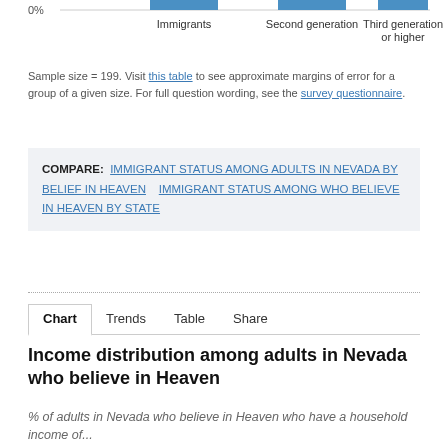[Figure (bar-chart): Partial bar chart visible at top of page showing immigrant status categories: Immigrants, Second generation, Third generation or higher. 0% baseline visible.]
Sample size = 199. Visit this table to see approximate margins of error for a group of a given size. For full question wording, see the survey questionnaire.
COMPARE: IMMIGRANT STATUS AMONG ADULTS IN NEVADA BY BELIEF IN HEAVEN   IMMIGRANT STATUS AMONG WHO BELIEVE IN HEAVEN BY STATE
Chart   Trends   Table   Share
Income distribution among adults in Nevada who believe in Heaven
% of adults in Nevada who believe in Heaven who have a household income of...